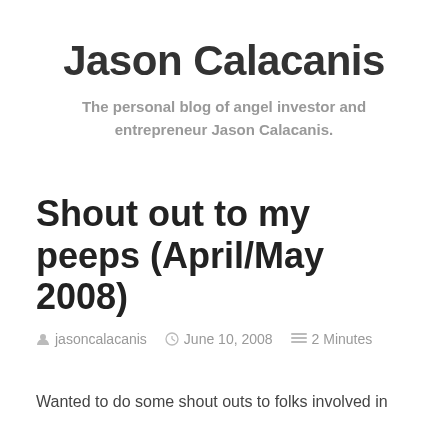Jason Calacanis
The personal blog of angel investor and entrepreneur Jason Calacanis.
Shout out to my peeps (April/May 2008)
jasoncalacanis   June 10, 2008   2 Minutes
Wanted to do some shout outs to folks involved in